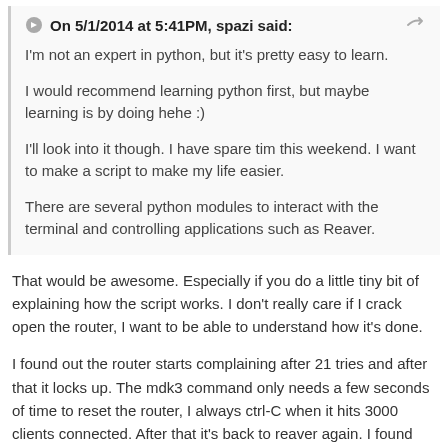On 5/1/2014 at 5:41 PM, spazi said:
I'm not an expert in python, but it's pretty easy to learn.
I would recommend learning python first, but maybe learning is by doing hehe :)
I'll look into it though. I have spare tim this weekend. I want to make a script to make my life easier.
There are several python modules to interact with the terminal and controlling applications such as Reaver.
That would be awesome. Especially if you do a little tiny bit of explaining how the script works. I don't really care if I crack open the router, I want to be able to understand how it's done.
I found out the router starts complaining after 21 tries and after that it locks up. The mdk3 command only needs a few seconds of time to reset the router, I always ctrl-C when it hits 3000 clients connected. After that it's back to reaver again. I found out that "reaver -i mon0 -b [MAC] -vv -S -a -g 21 " works best. I added -c 1 to it, but I saw the router hop channels a few times. Went from